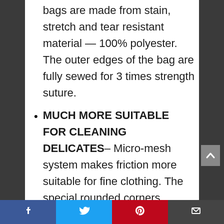LONG LASTING- Our strong wash bags are made from stain, stretch and tear resistant material — 100% polyester. The outer edges of the bag are fully sewed for 3 times strength suture.
MUCH MORE SUITABLE FOR CLEANING DELICATES– Micro-mesh system makes friction more suitable for fine clothing. The special rounded corners design makes dirt and batt not accumulate in the bag.
HANDY MULTIPACK & ESAY TO STORAGE- Including 1 large bags
[Figure (screenshot): Social sharing bar with Facebook, Twitter, Pinterest, and email icons]